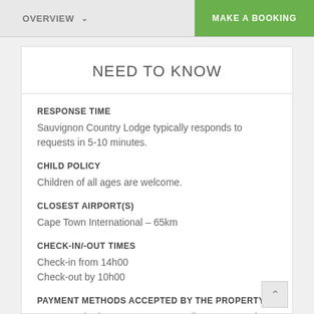OVERVIEW    MAKE A BOOKING
NEED TO KNOW
RESPONSE TIME
Sauvignon Country Lodge typically responds to requests in 5-10 minutes.
CHILD POLICY
Children of all ages are welcome.
CLOSEST AIRPORT(S)
Cape Town International - 65km
CHECK-IN/-OUT TIMES
Check-in from 14h00
Check-out by 10h00
PAYMENT METHODS ACCEPTED BY THE PROPERTY
Mastercard, Visa, EFT or secure online payment via SA-Venues.com